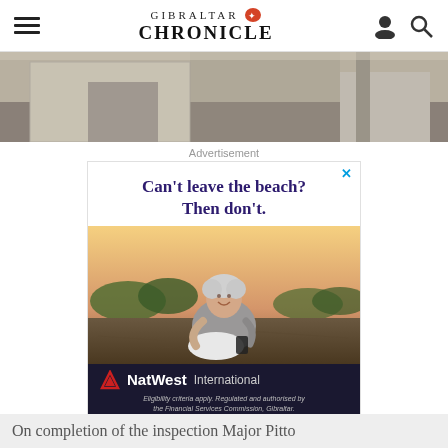GIBRALTAR CHRONICLE
[Figure (photo): Concrete structure at a beach, architectural outdoor photo strip]
Advertisement
[Figure (infographic): NatWest International advertisement. Headline: Can't leave the beach? Then don't. Shows an older woman sitting on a beach using a mobile phone. NatWest International logo at bottom. Disclaimer: Eligibility criteria apply. Regulated and authorised by the Financial Services Commission, Gibraltar.]
On completion of the inspection Major Pitto